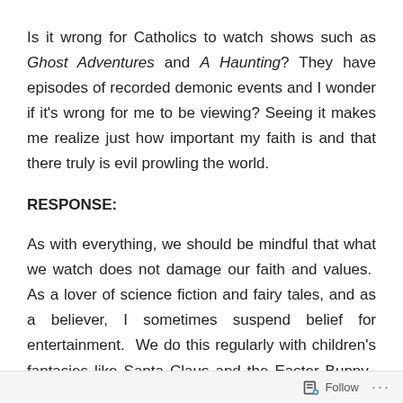Is it wrong for Catholics to watch shows such as Ghost Adventures and A Haunting? They have episodes of recorded demonic events and I wonder if it's wrong for me to be viewing? Seeing it makes me realize just how important my faith is and that there truly is evil prowling the world.
RESPONSE:
As with everything, we should be mindful that what we watch does not damage our faith and values. As a lover of science fiction and fairy tales, and as a believer, I sometimes suspend belief for entertainment. We do this regularly with children's fantasies like Santa Claus and the Easter Bunny. However, we should be mindful that not
Follow ···